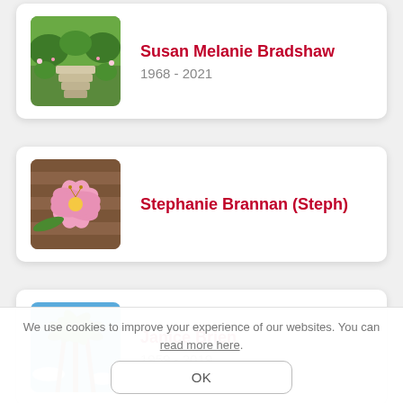[Figure (illustration): Garden steps with greenery and flowers]
Susan Melanie Bradshaw
1968 - 2021
[Figure (photo): Pink lily flower on wooden surface]
Stephanie Brannan (Steph)
[Figure (photo): Palm trees viewed from below against blue sky]
Janice Brien
1959 - 2019
We use cookies to improve your experience of our websites. You can read more here.
OK